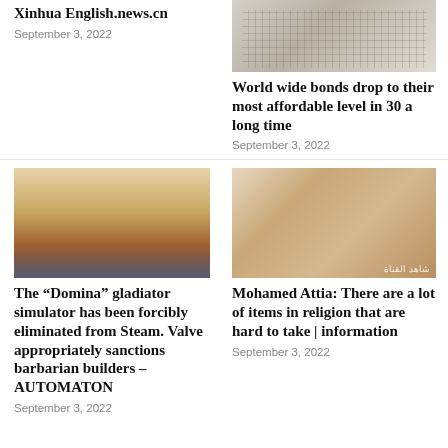Xinhua English.news.cn
September 3, 2022
[Figure (photo): Close-up photo of ruled/graph paper lines, related to bonds story]
World wide bonds drop to their most affordable level in 30 a long time
September 3, 2022
[Figure (photo): Aerial view of a gladiator arena/colosseum with crowd and fighters in sand pit]
[Figure (photo): Man in grey vest being interviewed, Arabic TV watermark visible]
The “Domina” gladiator simulator has been forcibly eliminated from Steam. Valve appropriately sanctions barbarian builders - AUTOMATON
September 3, 2022
Mohamed Attia: There are a lot of items in religion that are hard to take | information
September 3, 2022